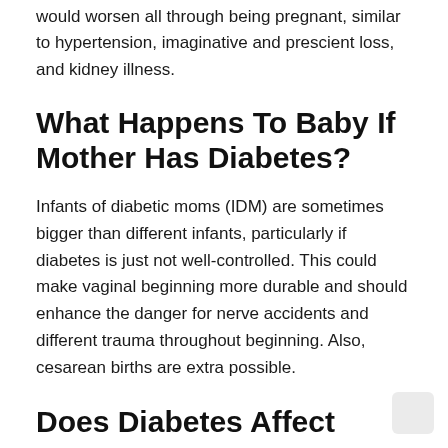would worsen all through being pregnant, similar to hypertension, imaginative and prescient loss, and kidney illness.
What Happens To Baby If Mother Has Diabetes?
Infants of diabetic moms (IDM) are sometimes bigger than different infants, particularly if diabetes is just not well-controlled. This could make vaginal beginning more durable and should enhance the danger for nerve accidents and different trauma throughout beginning. Also, cesarean births are extra possible.
Does Diabetes Affect